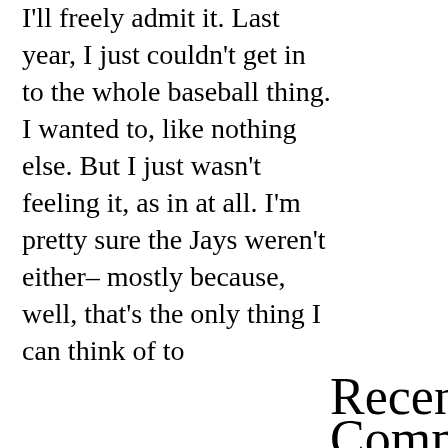I'll freely admit it. Last year, I just couldn't get in to the whole baseball thing. I wanted to, like nothing else. But I just wasn't feeling it, as in at all. I'm pretty sure the Jays weren't either– mostly because, well, that's the only thing I can think of to
Recent Comments